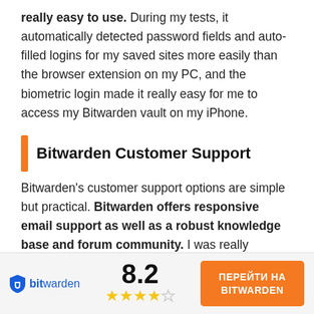really easy to use. During my tests, it automatically detected password fields and auto-filled logins for my saved sites more easily than the browser extension on my PC, and the biometric login made it really easy for me to access my Bitwarden vault on my iPhone.
Bitwarden Customer Support
Bitwarden's customer support options are simple but practical. Bitwarden offers responsive email support as well as a robust knowledge base and forum community. I was really impressed with how quickly Bitwarden was able to get back to me —
[Figure (logo): Bitwarden logo with shield icon and text 'bitwarden' in blue]
8.2
[Figure (infographic): 4 filled gold stars and 1 empty star rating]
ПЕРЕЙТИ НА BITWARDEN